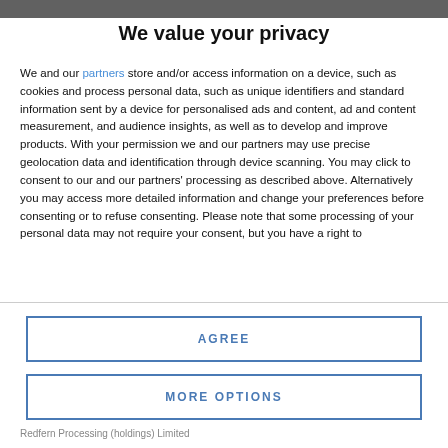We value your privacy
We and our partners store and/or access information on a device, such as cookies and process personal data, such as unique identifiers and standard information sent by a device for personalised ads and content, ad and content measurement, and audience insights, as well as to develop and improve products. With your permission we and our partners may use precise geolocation data and identification through device scanning. You may click to consent to our and our partners' processing as described above. Alternatively you may access more detailed information and change your preferences before consenting or to refuse consenting. Please note that some processing of your personal data may not require your consent, but you have a right to
AGREE
MORE OPTIONS
Redfern Processing (holdings) Limited